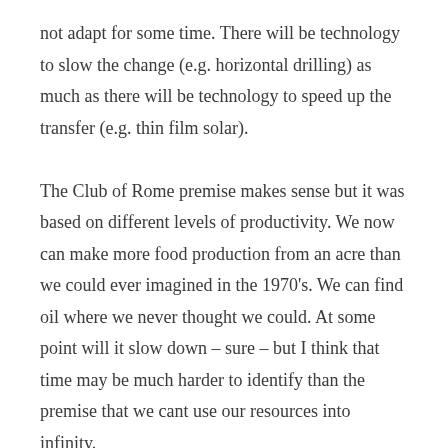not adapt for some time. There will be technology to slow the change (e.g. horizontal drilling) as much as there will be technology to speed up the transfer (e.g. thin film solar). The Club of Rome premise makes sense but it was based on different levels of productivity. We now can make more food production from an acre than we could ever imagined in the 1970's. We can find oil where we never thought we could. At some point will it slow down – sure – but I think that time may be much harder to identify than the premise that we cant use our resources into infinity. My blog –